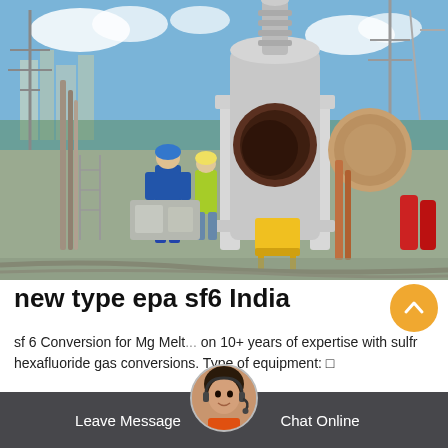[Figure (photo): Outdoor electrical substation scene with workers in blue coveralls and yellow safety vests, large industrial gas handling equipment (cylindrical tank with open flange) on a white support frame, yellow step stool, high-voltage transmission line towers and insulators in background, blue sky with white clouds.]
new type epa sf6 India
sf 6 Conversion for Mg Melt... on 10+ years of expertise with sulfr hexafluoride gas conversions. Type of equipment: □
Leave Message   Chat Online